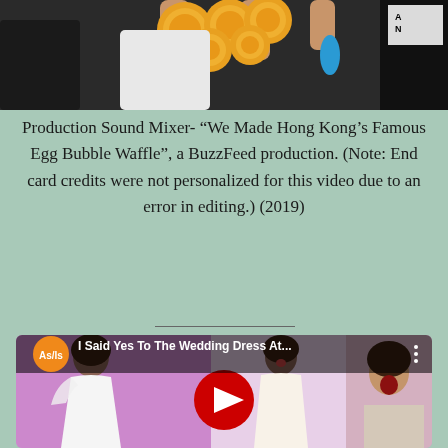[Figure (photo): Top portion of image showing hands holding gold coin-shaped items, people in background]
Production Sound Mixer- “We Made Hong Kong’s Famous Egg Bubble Waffle”, a BuzzFeed production. (Note: End card credits were not personalized for this video due to an error in editing.) (2019)
[Figure (screenshot): YouTube video thumbnail for 'I Said Yes To The Wedding Dress At...' from As/Is channel, showing woman in wedding dresses and a surprised child, with YouTube play button overlay]